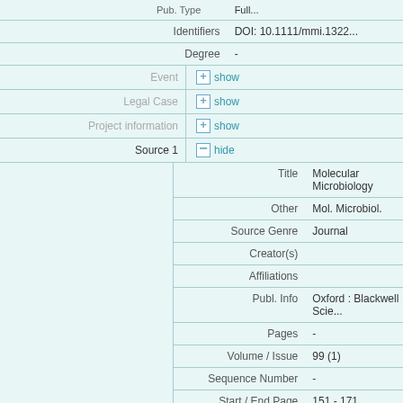|  | Identifiers | DOI: 10.1111/mmi.1322... |
|  | Degree | - |
| Event | [+] show |  |
| Legal Case | [+] show |  |
| Project information | [+] show |  |
| Source 1 | [-] hide |  |
| Title |  | Molecular Microbiology |
| Other |  | Mol. Microbiol. |
| Source Genre |  | Journal |
| Creator(s) |  |  |
| Affiliations |  |  |
| Publ. Info |  | Oxford : Blackwell Scie... |
| Pages |  | - |
| Volume / Issue |  | 99 (1) |
| Sequence Number |  | - |
| Start / End Page |  | 151 - 171 |
| Identifier |  | ISSN: 0950-382X
CoNE: https://pure.mpg... |